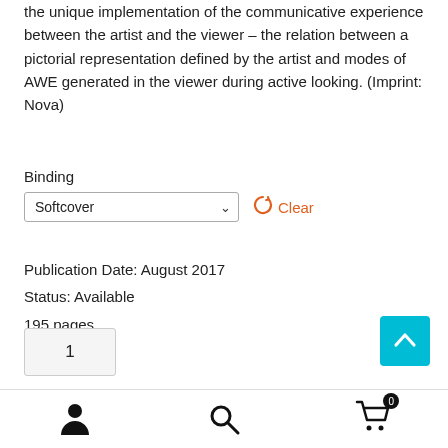the unique implementation of the communicative experience between the artist and the viewer – the relation between a pictorial representation defined by the artist and modes of AWE generated in the viewer during active looking. (Imprint: Nova)
Binding
Softcover  Clear
Publication Date: August 2017
Status: Available
195 pages
[Figure (other): Back to top button (teal/cyan square with white upward chevron arrow)]
1
[Figure (other): Mobile bottom navigation bar with user/account icon, search icon, and shopping cart icon with badge showing 0]